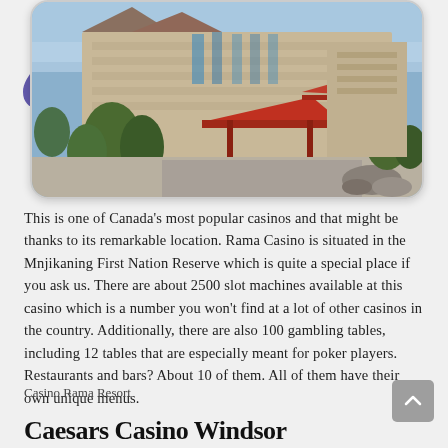[Figure (photo): Exterior photo of Casino Rama Resort building with red canopy entrance, trees, and parking area in front, framed with rounded corners]
This is one of Canada's most popular casinos and that might be thanks to its remarkable location. Rama Casino is situated in the Mnjikaning First Nation Reserve which is quite a special place if you ask us. There are about 2500 slot machines available at this casino which is a number you won't find at a lot of other casinos in the country. Additionally, there are also 100 gambling tables, including 12 tables that are especially meant for poker players. Restaurants and bars? About 10 of them. All of them have their own unique menus.
Casino Rama Resort
Caesars Casino Windsor